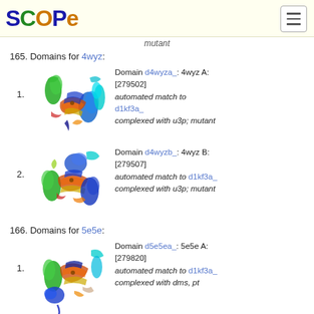SCOPe
mutant
165. Domains for 4wyz:
1. Domain d4wyza_: 4wyz A: [279502] automated match to d1kf3a_ complexed with u3p; mutant
[Figure (illustration): Rainbow-colored ribbon diagram of protein structure d4wyza_ (4wyz A)]
2. Domain d4wyzb_: 4wyz B: [279507] automated match to d1kf3a_ complexed with u3p; mutant
[Figure (illustration): Rainbow-colored ribbon diagram of protein structure d4wyzb_ (4wyz B)]
166. Domains for 5e5e:
1. Domain d5e5ea_: 5e5e A: [279820] automated match to d1kf3a_ complexed with dms, pt
[Figure (illustration): Rainbow-colored ribbon diagram of protein structure d5e5ea_ (5e5e A)]
2. Domain d5e5eb_: 5e5e B:
[Figure (illustration): Partial rainbow-colored ribbon diagram of protein structure d5e5eb_ (5e5e B)]